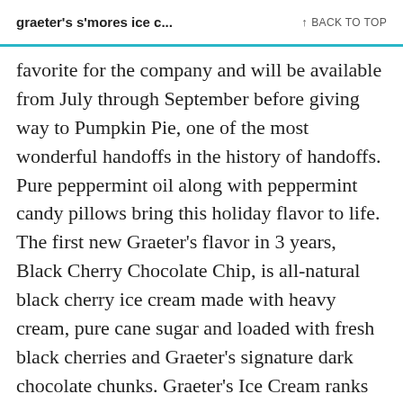graeter's s'mores ice c... ↑ BACK TO TOP
favorite for the company and will be available from July through September before giving way to Pumpkin Pie, one of the most wonderful handoffs in the history of handoffs. Pure peppermint oil along with peppermint candy pillows bring this holiday flavor to life. The first new Graeter's flavor in 3 years, Black Cherry Chocolate Chip, is all-natural black cherry ice cream made with heavy cream, pure cane sugar and loaded with fresh black cherries and Graeter's signature dark chocolate chunks. Graeter's Ice Cream ranks 5th among Dessert sites. Cincinnati-based Graeter's boasts a small-batch approach to ice